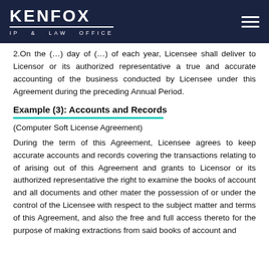KENFOX IP & LAW OFFICE
2.On the (…) day of (…) of each year, Licensee shall deliver to Licensor or its authorized representative a true and accurate accounting of the business conducted by Licensee under this Agreement during the preceding Annual Period.
Example (3): Accounts and Records
(Computer Soft License Agreement)
During the term of this Agreement, Licensee agrees to keep accurate accounts and records covering the transactions relating to of arising out of this Agreement and grants to Licensor or its authorized representative the right to examine the books of account and all documents and other mater… the possession of or under the control of the Licensee with respect to the subject matter and terms of this Agreement, and also the free and full access thereto for the purpose of making extractions from said books of account and